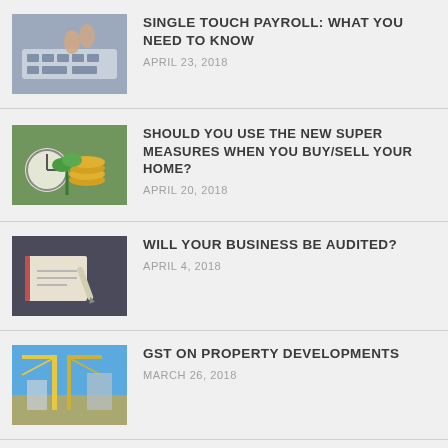SINGLE TOUCH PAYROLL: WHAT YOU NEED TO KNOW
APRIL 23, 2018
SHOULD YOU USE THE NEW SUPER MEASURES WHEN YOU BUY/SELL YOUR HOME?
APRIL 20, 2018
WILL YOUR BUSINESS BE AUDITED?
APRIL 4, 2018
GST ON PROPERTY DEVELOPMENTS
MARCH 26, 2018
WHAT DOES BILL SHORTEN'S PLAN FOR FRANKING CREDITS MEAN FOR YOU?